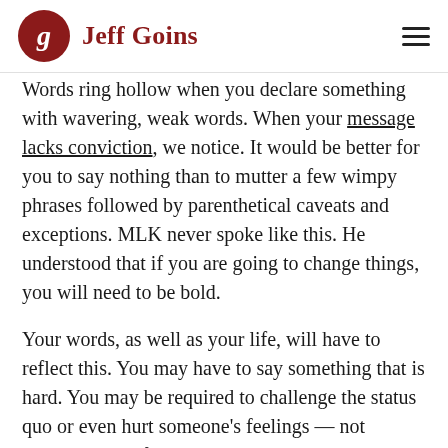Jeff Goins
Words ring hollow when you declare something with wavering, weak words. When your message lacks conviction, we notice. It would be better for you to say nothing than to mutter a few wimpy phrases followed by parenthetical caveats and exceptions. MLK never spoke like this. He understood that if you are going to change things, you will need to be bold.

Your words, as well as your life, will have to reflect this. You may have to say something that is hard. You may be required to challenge the status quo or even hurt someone's feelings — not intentionally, of course, but because not doing so would be a disservice to the truth.